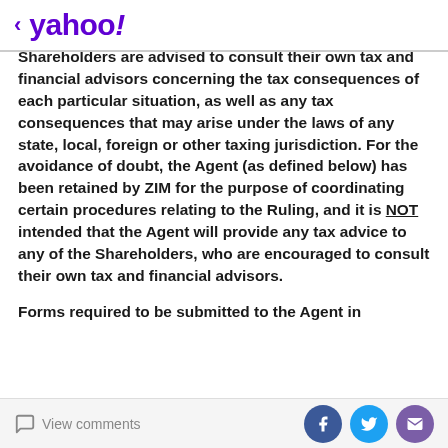< yahoo!
Shareholders are advised to consult their own tax and financial advisors concerning the tax consequences of each particular situation, as well as any tax consequences that may arise under the laws of any state, local, foreign or other taxing jurisdiction. For the avoidance of doubt, the Agent (as defined below) has been retained by ZIM for the purpose of coordinating certain procedures relating to the Ruling, and it is NOT intended that the Agent will provide any tax advice to any of the Shareholders, who are encouraged to consult their own tax and financial advisors.
Forms required to be submitted to the Agent in
View comments